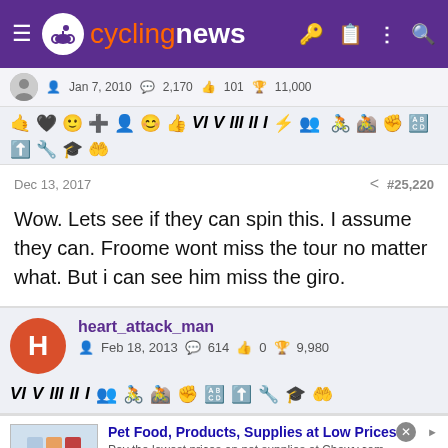cyclingnews
Jan 7, 2010   2,170   101   11,000
[Figure (other): Row of forum emoji/badge icons]
Dec 13, 2017   #25,220
Wow. Lets see if they can spin this. I assume they can. Froome wont miss the tour no matter what. But i can see him miss the giro.
heart_attack_man
Feb 18, 2013   614   0   9,980
[Figure (other): Row of forum emoji/badge icons for heart_attack_man]
[Figure (other): Advertisement banner: Pet Food, Products, Supplies at Low Prices - chewy.com]